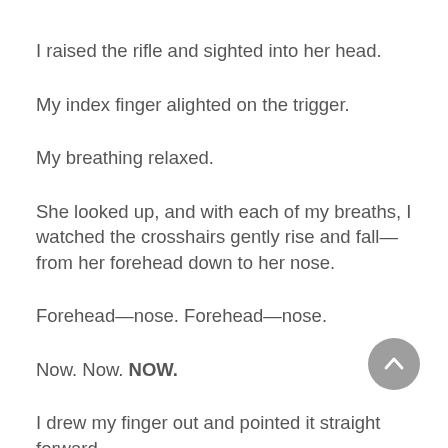I raised the rifle and sighted into her head.
My index finger alighted on the trigger.
My breathing relaxed.
She looked up, and with each of my breaths, I watched the crosshairs gently rise and fall—from her forehead down to her nose.
Forehead—nose. Forehead—nose.
Now. Now. NOW.
I drew my finger out and pointed it straight forward.